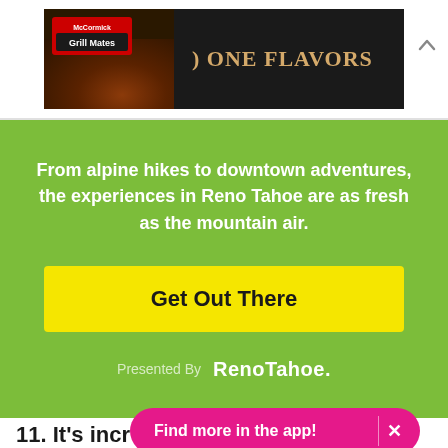[Figure (screenshot): McCormick Grill Mates advertisement banner with dark background showing seasoned meat and text 'ONE FLAVORS']
From alpine hikes to downtown adventures, the experiences in Reno Tahoe are as fresh as the mountain air.
Get Out There
Presented By RenoTahoe.
11. It's incr
Find more in the app!